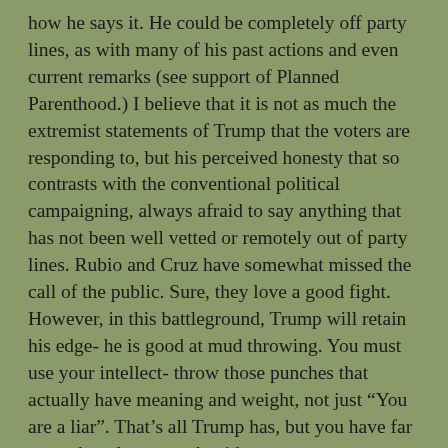how he says it. He could be completely off party lines, as with many of his past actions and even current remarks (see support of Planned Parenthood.) I believe that it is not as much the extremist statements of Trump that the voters are responding to, but his perceived honesty that so contrasts with the conventional political campaigning, always afraid to say anything that has not been well vetted or remotely out of party lines. Rubio and Cruz have somewhat missed the call of the public. Sure, they love a good fight. However, in this battleground, Trump will retain his edge- he is good at mud throwing. You must use your intellect- throw those punches that actually have meaning and weight, not just “You are a liar”. That’s all Trump has, but you have far more than that to work with.

The real missed lesson is not how to come up with insults. It’s breaking the format- speaking off the cuff, answering questions without looking to your campaign